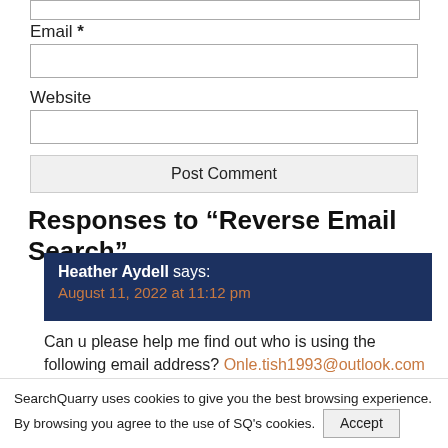Email *
Website
Post Comment
Responses to “Reverse Email Search”
Heather Aydell says:
August 11, 2022 at 11:12 pm
Can u please help me find out who is using the following email address? Onle.tish1993@outlook.com
paul says:
August 11, 2022 at 4:07 pm
SearchQuarry uses cookies to give you the best browsing experience. By browsing you agree to the use of SQ's cookies.  Accept